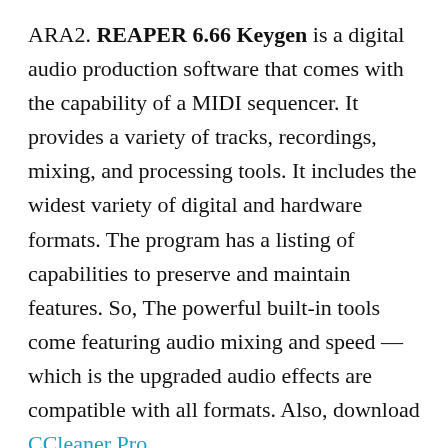ARA2. REAPER 6.66 Keygen is a digital audio production software that comes with the capability of a MIDI sequencer. It provides a variety of tracks, recordings, mixing, and processing tools. It includes the widest variety of digital and hardware formats. The program has a listing of capabilities to preserve and maintain features. So, The powerful built-in tools come featuring audio mixing and speed — which is the upgraded audio effects are compatible with all formats. Also, download CCleaner Pro
REAPER 2022 License Key is a fantastic digital audio workstation. The word REAPER